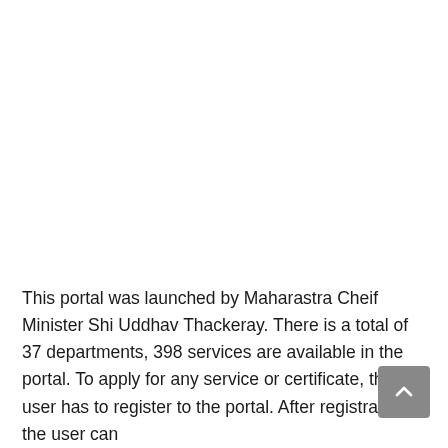This portal was launched by Maharastra Cheif Minister Shi Uddhav Thackeray. There is a total of 37 departments, 398 services are available in the portal. To apply for any service or certificate, the user has to register to the portal. After registration, the user can